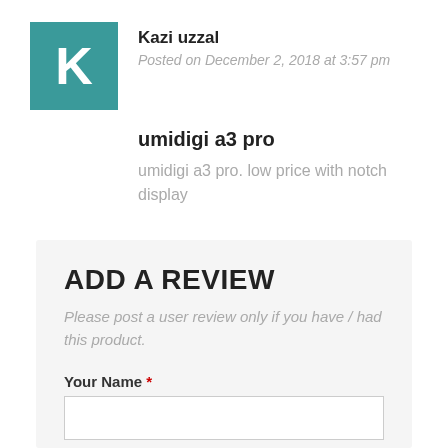[Figure (illustration): Teal square avatar with white letter K]
Kazi uzzal
Posted on December 2, 2018 at 3:57 pm
umidigi a3 pro
umidigi a3 pro. low price with notch display
ADD A REVIEW
Please post a user review only if you have / had this product.
Your Name *
Your Email *